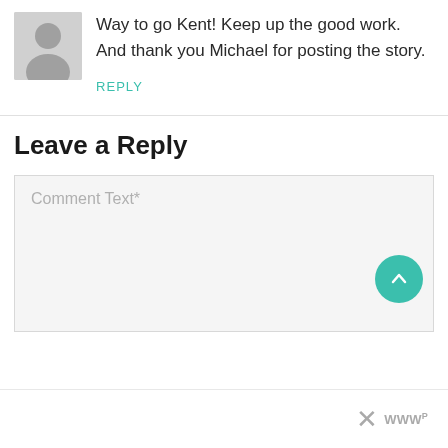Way to go Kent! Keep up the good work. And thank you Michael for posting the story.
REPLY
Leave a Reply
Comment Text*